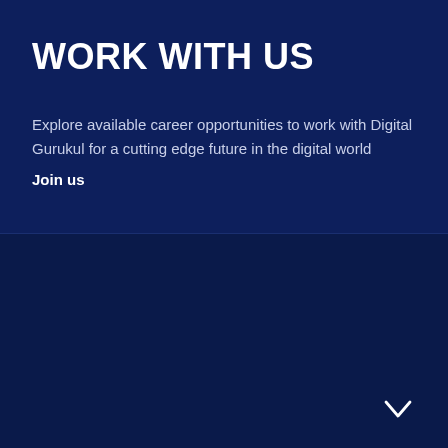WORK WITH US
Explore available career opportunities to work with Digital Gurukul for a cutting edge future in the digital world
Join us